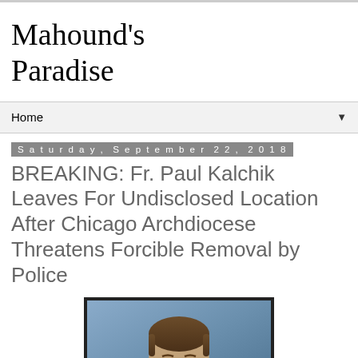Mahound's Paradise
Home
Saturday, September 22, 2018
BREAKING: Fr. Paul Kalchik Leaves For Undisclosed Location After Chicago Archdiocese Threatens Forcible Removal by Police
[Figure (photo): Portrait photo of a man (Fr. Paul Kalchik) against a blue background, cropped at shoulders, visible from upper chest upward.]